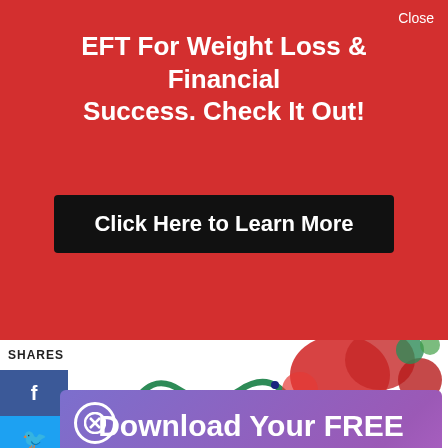Close
EFT For Weight Loss & Financial Success. Check It Out!
Click Here to Learn More
SHARES
[Figure (illustration): Colorful confetti and snake-like shapes on white background]
Download Your FREE Hypnosis Booster MP3
Brain Power. Law of Attraction. Wealth. Weight Loss. Confidence.
Yes, I Want My Free MP3